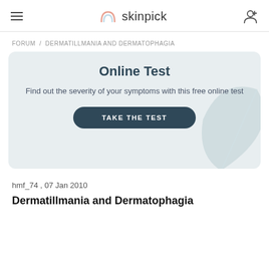skinpick
FORUM / DERMATILLMANIA AND DERMATOPHAGIA
[Figure (infographic): Online Test promotional banner with title 'Online Test', description 'Find out the severity of your symptoms with this free online test', a dark button 'TAKE THE TEST', and a decorative leaf graphic on the right.]
hmf_74 , 07 Jan 2010
Dermatillmania and Dermatophagia